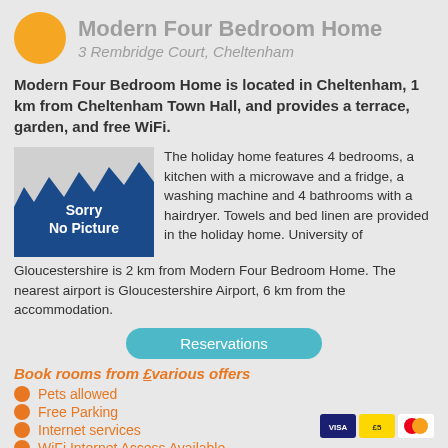Modern Four Bedroom Home
3 Rembridge Court, Cheltenham
Modern Four Bedroom Home is located in Cheltenham, 1 km from Cheltenham Town Hall, and provides a terrace, garden, and free WiFi.
[Figure (illustration): Sorry No Picture placeholder image with blue jagged background]
The holiday home features 4 bedrooms, a kitchen with a microwave and a fridge, a washing machine and 4 bathrooms with a hairdryer. Towels and bed linen are provided in the holiday home. University of Gloucestershire is 2 km from Modern Four Bedroom Home. The nearest airport is Gloucestershire Airport, 6 km from the accommodation.
Reservations
Book rooms from £various offers
Pets allowed
Free Parking
Internet services
WiFi Internet Access Available